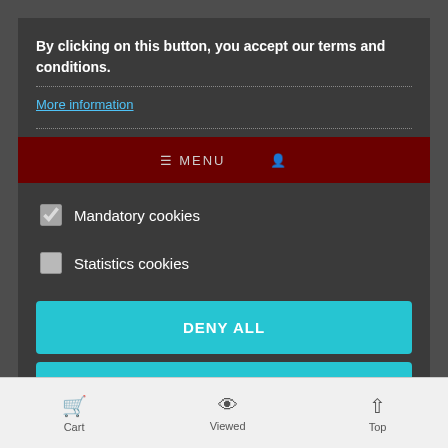[Figure (screenshot): Cookie consent modal dialog overlaid on an e-commerce website (Sveltus). Shows terms acceptance text, More information link, Mandatory cookies checkbox (checked), Statistics cookies checkbox (unchecked), and three action buttons: DENY ALL, ACCEPT CURRENT SELECTION, ACCEPT ALL. Background shows partial website with search bar, menu, star ratings, and bottom navigation bar.]
By clicking on this button, you accept our terms and conditions.
More information
Mandatory cookies
Statistics cookies
DENY ALL
ACCEPT CURRENT SELECTION
ACCEPT ALL
2 Reviews
Its durable and resistant rubber coating protects from sides).
Cart  Viewed  Top